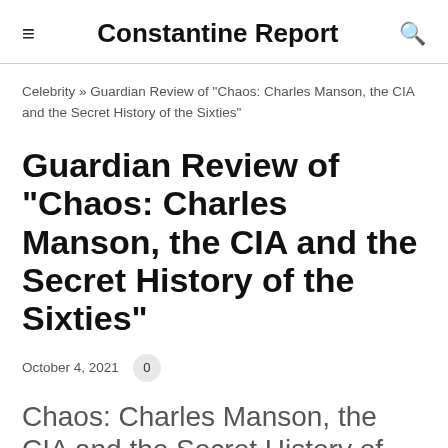Constantine Report
Celebrity » Guardian Review of "Chaos: Charles Manson, the CIA and the Secret History of the Sixties"
Guardian Review of "Chaos: Charles Manson, the CIA and the Secret History of the Sixties"
October 4, 2021   0
Chaos: Charles Manson, the CIA and the Secret History of the